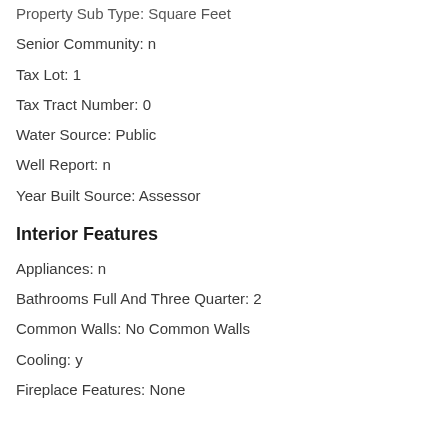Property Sub Type: Square Feet
Senior Community: n
Tax Lot: 1
Tax Tract Number: 0
Water Source: Public
Well Report: n
Year Built Source: Assessor
Interior Features
Appliances: n
Bathrooms Full And Three Quarter: 2
Common Walls: No Common Walls
Cooling: y
Fireplace Features: None